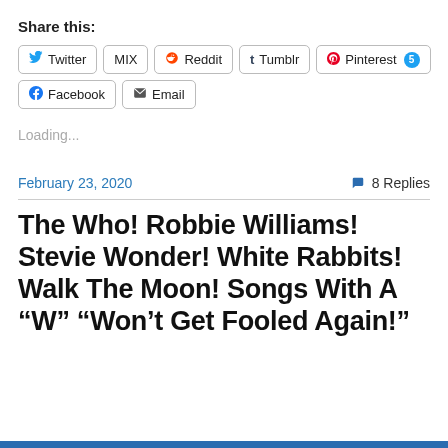Share this:
Twitter  MIX  Reddit  Tumblr  Pinterest 5  Facebook  Email
Loading...
February 23, 2020   8 Replies
The Who! Robbie Williams! Stevie Wonder! White Rabbits! Walk The Moon! Songs With A “W” “Won’t Get Fooled Again!”